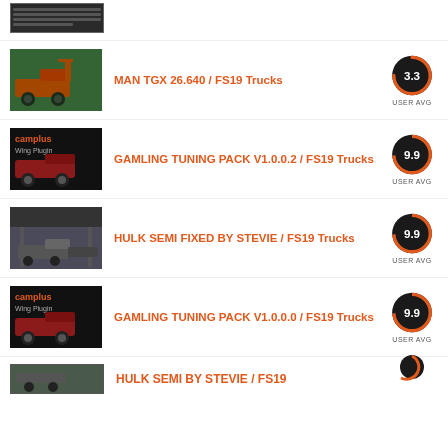[Figure (screenshot): Partial thumbnail of a truck mod at top of page]
USER AVG
[Figure (screenshot): MAN TGX 26.640 truck with crane on trailer]
MAN TGX 26.640 / FS19 Trucks
[Figure (other): Rating circle showing 3.3]
USER AVG
[Figure (screenshot): GAMLING tuning pack truck mod thumbnail]
GAMLING TUNING PACK V1.0.0.2 / FS19 Trucks
[Figure (other): Rating circle showing 9.9]
USER AVG
[Figure (screenshot): HULK SEMI truck under bridge mod thumbnail]
HULK SEMI FIXED BY STEVIE / FS19 Trucks
[Figure (other): Rating circle showing 9.9]
USER AVG
[Figure (screenshot): GAMLING tuning pack truck mod thumbnail]
GAMLING TUNING PACK V1.0.0.0 / FS19 Trucks
[Figure (other): Rating circle showing 9.9]
USER AVG
[Figure (screenshot): HULK SEMI truck mod partial thumbnail at bottom]
HULK SEMI BY STEVIE / FS19